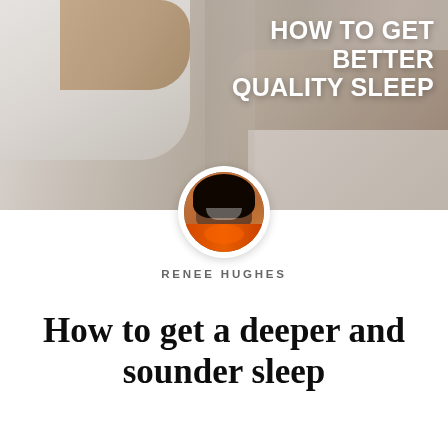[Figure (photo): Hero image of a person lying on a bed in white clothes, photographed from overhead, with a soft warm-toned background]
HOW TO GET BETTER QUALITY SLEEP
[Figure (photo): Circular portrait photo of Renee Hughes, a smiling woman with dreadlocks wearing an orange scarf]
RENEE HUGHES
How to get a deeper and sounder sleep